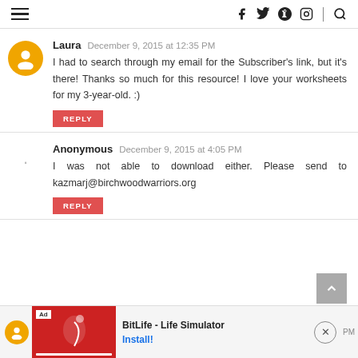Navigation bar with hamburger menu and social icons (facebook, twitter, pinterest, instagram, search)
Laura   December 9, 2015 at 12:35 PM
I had to search through my email for the Subscriber's link, but it's there! Thanks so much for this resource! I love your worksheets for my 3-year-old. :)
REPLY
Anonymous   December 9, 2015 at 4:05 PM
I was not able to download either. Please send to kazmarj@birchwoodwarriors.org
REPLY
[Figure (screenshot): Ad banner at bottom: BitLife - Life Simulator app advertisement with red background image and Install! link]